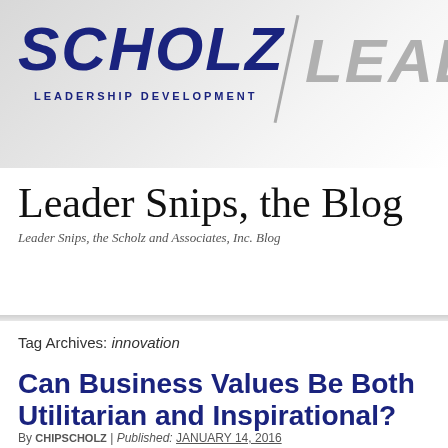[Figure (logo): Scholz Leadership Development logo with 'SCHOLZ' in dark blue bold italic text and 'LEADERSHIP DEVELOPMENT' subtitle, divided by a diagonal line from 'Leaders' in gray text]
Leader Snips, the Blog
Leader Snips, the Scholz and Associates, Inc. Blog
Tag Archives: innovation
Can Business Values Be Both Utilitarian and Inspirational?
By CHIPSCHOLZ | Published: JANUARY 14, 2016
Let's look at business values and principles from a different angle. In my opinion, it's hard t… really good innovative ideas and products when people are driven by money and profits al… when you ask people to imagine a product or service that knocks the socks off customers…